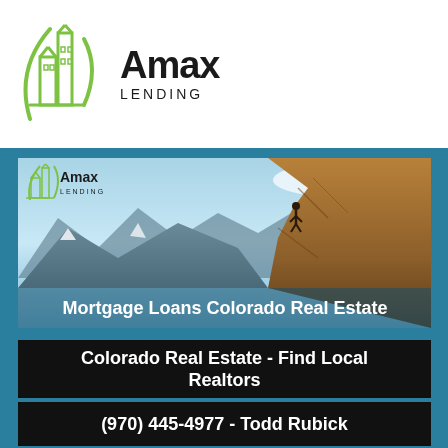[Figure (logo): Amax Lending logo: green building outline icon and bold text 'Amax LENDING']
[Figure (photo): Mountain landscape with person standing on rocky peak, overlaid with Amax Lending logo and text 'Mortgage Loans Colorado Real Estate']
Colorado Real Estate - Find Local Realtors
Out of the Box Loans
(970) 445-4977 - Todd Rubick